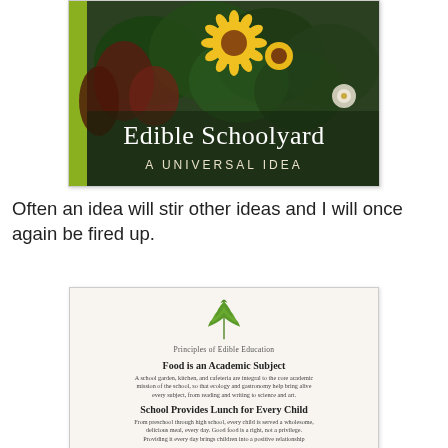[Figure (photo): Book cover for 'Edible Schoolyard: A Universal Idea' showing a lush garden with sunflowers, green and red foliage, and white flowers with the title overlaid in white serif text on green-tinted garden background.]
Often an idea will stir other ideas and I will once again be fired up.
[Figure (photo): Image of a document titled 'Principles of Edible Education' with a green leaf illustration at the top, followed by sections: 'Food is an Academic Subject' and 'School Provides Lunch for Every Child' with descriptive paragraphs.]